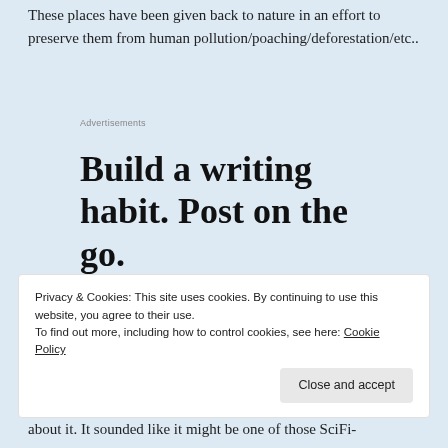These places have been given back to nature in an effort to preserve them from human pollution/poaching/deforestation/etc..
Advertisements
Build a writing habit. Post on the go.
GET THE APP
[Figure (logo): WordPress logo — blue circle with white W on a rounded square blue background]
Privacy & Cookies: This site uses cookies. By continuing to use this website, you agree to their use. To find out more, including how to control cookies, see here: Cookie Policy
Close and accept
about it. It sounded like it might be one of those SciFi-